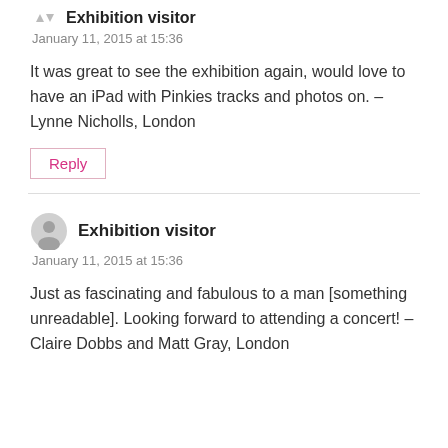Exhibition visitor
January 11, 2015 at 15:36
It was great to see the exhibition again, would love to have an iPad with Pinkies tracks and photos on. – Lynne Nicholls, London
Reply
Exhibition visitor
January 11, 2015 at 15:36
Just as fascinating and fabulous to a man [something unreadable]. Looking forward to attending a concert! – Claire Dobbs and Matt Gray, London